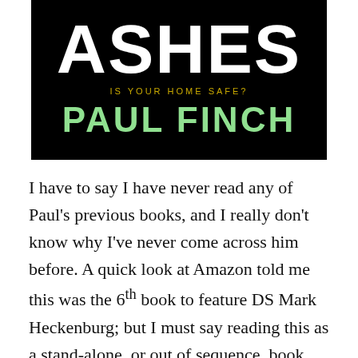[Figure (illustration): Book cover for 'Ashes' by Paul Finch. Black background with large white text 'Ashes' at top, yellow/gold subtitle 'IS YOUR HOME SAFE?' and large green text 'PAUL FINCH' below.]
I have to say I have never read any of Paul's previous books, and I really don't know why I've never come across him before. A quick look at Amazon told me this was the 6th book to feature DS Mark Heckenburg; but I must say reading this as a stand-alone, or out of sequence, book didn't detract from my enjoyment of it.